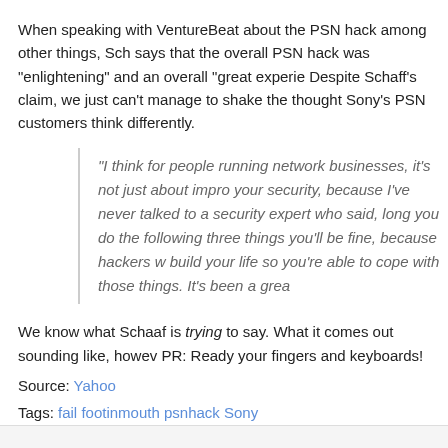When speaking with VentureBeat about the PSN hack among other things, Sch says that the overall PSN hack was "enlightening" and an overall "great experie Despite Schaff's claim, we just can't manage to shake the thought Sony's PSN customers think differently.
"I think for people running network businesses, it's not just about impro your security, because I've never talked to a security expert who said, long you do the following three things you'll be fine, because hackers w build your life so you're able to cope with those things. It's been a grea
We know what Schaaf is trying to say. What it comes out sounding like, howev PR: Ready your fingers and keyboards!
Source: Yahoo
Tags: fail footinmouth psnhack Sony